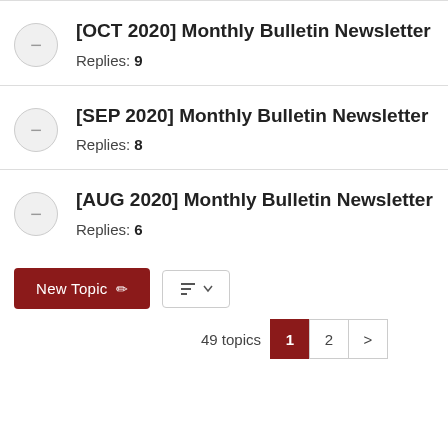[OCT 2020] Monthly Bulletin Newsletter
Replies: 9
[SEP 2020] Monthly Bulletin Newsletter
Replies: 8
[AUG 2020] Monthly Bulletin Newsletter
Replies: 6
New Topic  |  Sort  |  49 topics  1  2  >